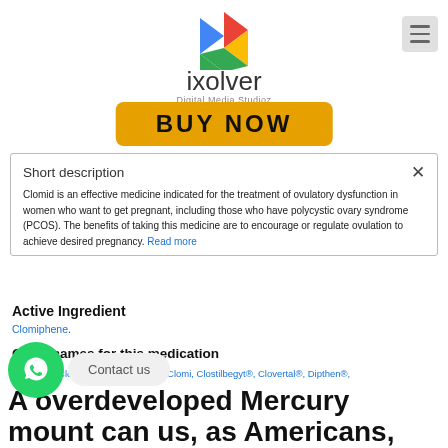[Figure (logo): Pixolver Digital Media Studioz logo with colorful triangle icon]
[Figure (other): BUY NOW orange button]
Short description
Clomid is an effective medicine indicated for the treatment of ovulatory dysfunction in women who want to get pregnant, including those who have polycystic ovary syndrome (PCOS). The benefits of taking this medicine are to encourage or regulate ovulation to achieve desired pregnancy. Read more
Active Ingredient
Clomiphene.
Other names for this medication
Blesifen®, Clomene, ClomHEXAL®, Clomi, Clostilbegyt®, Clovertal®, Dipthen®, Dufine®, Duinum®, Fensipros®, Fortab®, Omifin®, Ova-mit, Ovulot®, Pinfotil®,
Similar Products
Cetrotide®, Chorigon®, Follistim® AQ, Gonal-F®, Menopur®, Novarel®, Ovidrel®, Pergonal®, Pregnyl®, Profasi®, Repronex®.
A overdeveloped Mercury mount can us, as Americans,